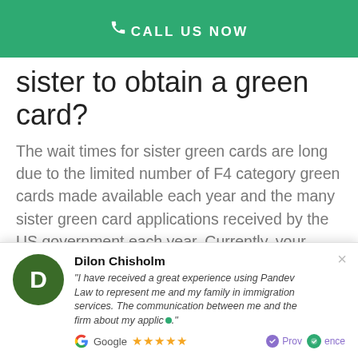CALL US NOW
sister to obtain a green card?
The wait times for sister green cards are long due to the limited number of F4 category green cards made available each year and the many sister green card applications received by the US government each year. Currently, your sister would have to wait over 10 years after your I-130 petition is approved to apply for a sister green card. You can find more information about visa retrogression
[Figure (screenshot): Customer review popup from Dilon Chisholm with 5-star Google rating and ProvenExpert badge]
Dilon Chisholm - "I have received a great experience using Pandev Law to represent me and my family in immigration services. The communication between me and the firm about my applic..."